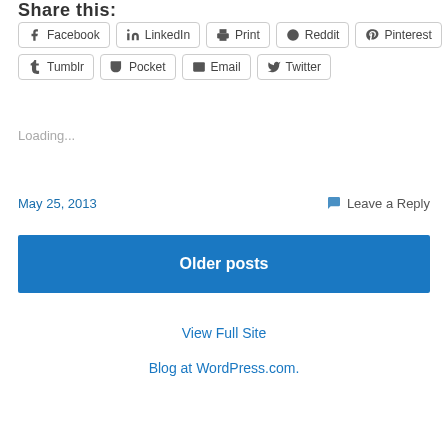Share this:
Facebook  LinkedIn  Print  Reddit  Pinterest  Tumblr  Pocket  Email  Twitter
Loading...
May 25, 2013
Leave a Reply
Older posts
View Full Site
Blog at WordPress.com.